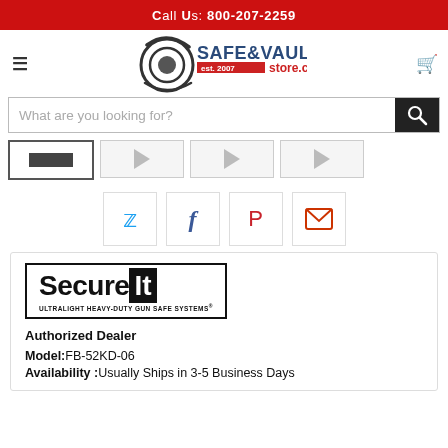Call Us: 800-207-2259
[Figure (logo): Safe & Vault Store.com logo with circular eye graphic and 'SAFE&VAULT est.2007 store.com' text]
[Figure (screenshot): Search bar with placeholder 'What are you looking for?' and search button]
[Figure (screenshot): Product image thumbnail strip with 4 thumbnails]
[Figure (infographic): Social share buttons: Twitter, Facebook, Pinterest, Email]
[Figure (logo): SecureIt Ultralight Heavy-Duty Gun Safe Systems logo]
Authorized Dealer
Model:FB-52KD-06
Availability :Usually Ships in 3-5 Business Days